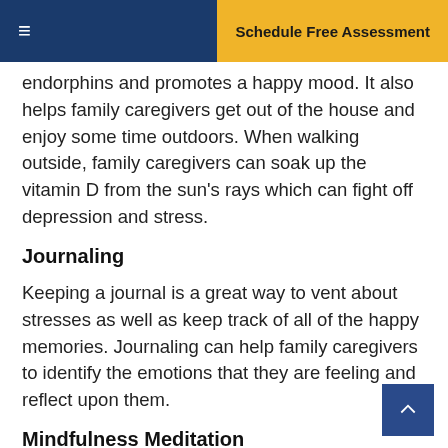≡   Schedule Free Assessment
endorphins and promotes a happy mood. It also helps family caregivers get out of the house and enjoy some time outdoors. When walking outside, family caregivers can soak up the vitamin D from the sun's rays which can fight off depression and stress.
Journaling
Keeping a journal is a great way to vent about stresses as well as keep track of all of the happy memories. Journaling can help family caregivers to identify the emotions that they are feeling and reflect upon them.
Mindfulness Meditation
Mindfulness is a mediation technique that caregivers